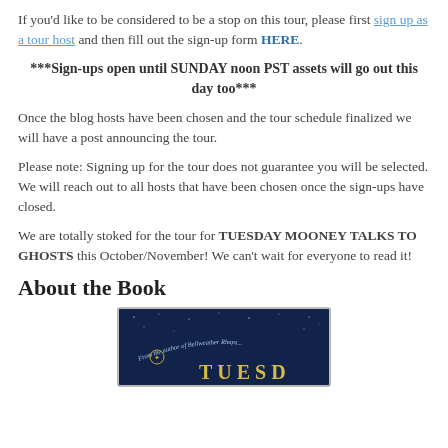If you'd like to be considered to be a stop on this tour, please first sign up as a tour host and then fill out the sign-up form HERE.
***Sign-ups open until SUNDAY noon PST assets will go out this day too***
Once the blog hosts have been chosen and the tour schedule finalized we will have a post announcing the tour.
Please note: Signing up for the tour does not guarantee you will be selected. We will reach out to all hosts that have been chosen once the sign-ups have closed.
We are totally stoked for the tour for TUESDAY MOONEY TALKS TO GHOSTS this October/November! We can't wait for everyone to read it!
About the Book
[Figure (photo): Book cover image for Tuesday Mooney Talks to Ghosts showing dark blue starry night sky background with decorative gold emblem and partial title text visible]